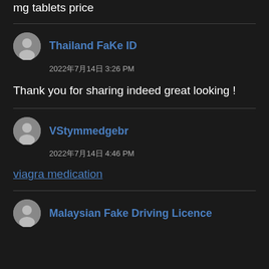mg tablets price
Thailand FaKe ID
2022年7月14日 3:26 PM
Thank you for sharing indeed great looking !
VStymmedgebr
2022年7月14日 4:46 PM
viagra medication
Malaysian Fake Driving Licence